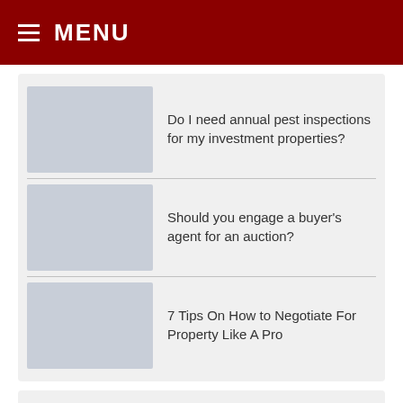MENU
Do I need annual pest inspections for my investment properties?
Should you engage a buyer's agent for an auction?
7 Tips On How to Negotiate For Property Like A Pro
Recent Articles
10 Important Questions to Ask a Buyers Agent